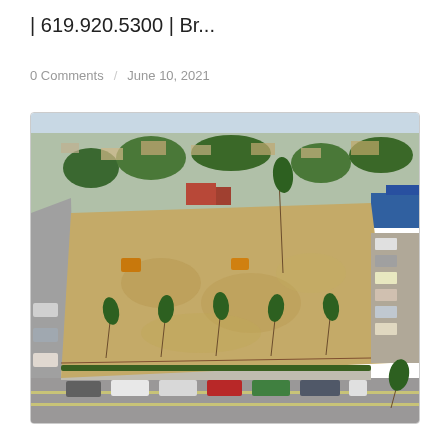| 619.920.5300 | Br...
0 Comments  /  June 10, 2021
[Figure (photo): Aerial drone photograph looking down at a vacant lot in a suburban San Diego neighborhood. The rectangular lot is covered with dry golden grass and a few palm trees along its perimeter. Cars are parked along the street in front. Surrounding the lot are residential homes, green trees, and a gas station or auto shop to the right. Roads and a busy commercial street are visible.]